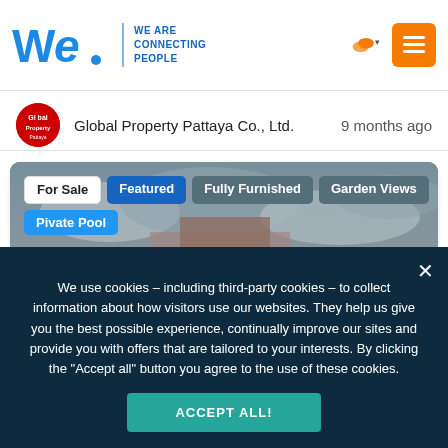[Figure (logo): WE. logo with tagline WE ARE CONNECTING PEOPLE]
Global Property Pattaya Co., Ltd.   9 months ago
[Figure (photo): Property listing photo showing a modern building with wood paneling under cloudy sky, with tags: For Sale, Featured, Fully Furnished, Garden Views, Pivate Pool]
We use cookies – including third-party cookies – to collect information about how visitors use our websites. They help us give you the best possible experience, continually improve our sites and provide you with offers that are tailored to your interests. By clicking the "Accept all" button you agree to the use of these cookies.
ACCEPT ALL!